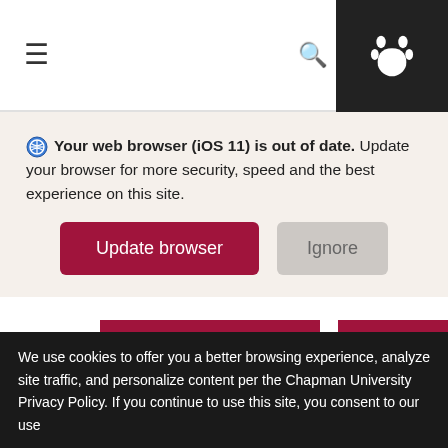[Figure (screenshot): Navigation bar with hamburger menu icon on left, search icon in center-right, and dark paw print icon box on far right]
Your web browser (iOS 11) is out of date. Update your browser for more security, speed and the best experience on this site.
[Figure (screenshot): Two buttons: 'Update browser' (dark red/maroon) and 'Ignore' (light gray)]
[Figure (screenshot): Image carousel with dark red/maroon image panels and left/right navigation arrows]
We use cookies to offer you a better browsing experience, analyze site traffic, and personalize content per the Chapman University Privacy Policy. If you continue to use this site, you consent to our use